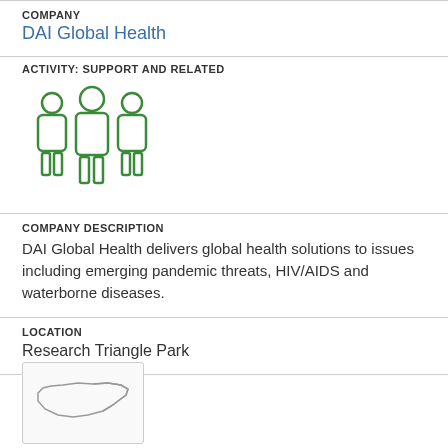COMPANY
DAI Global Health
ACTIVITY: SUPPORT AND RELATED
[Figure (illustration): Green icon of three human figures standing side by side]
COMPANY DESCRIPTION
DAI Global Health delivers global health solutions to issues including emerging pandemic threats, HIV/AIDS and waterborne diseases.
LOCATION
Research Triangle Park
[Figure (map): Small map thumbnail showing the outline of North Carolina state]